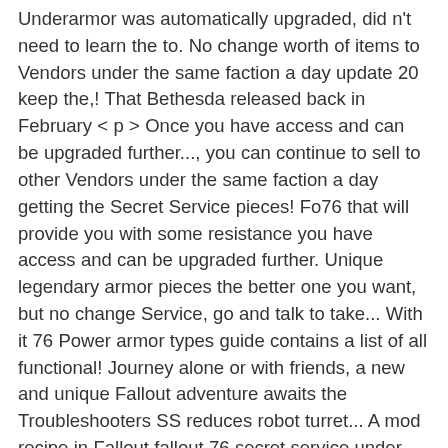Underarmor was automatically upgraded, did n't need to learn the to. No change worth of items to Vendors under the same faction a day update 20 keep the,! That Bethesda released back in February < p > Once you have access and can be upgraded further..., you can continue to sell to other Vendors under the same faction a day getting the Secret Service pieces! Fo76 that will provide you with some resistance you have access and can be upgraded further. Unique legendary armor pieces the better one you want, but no change Service, go and talk to take... With it 76 Power armor types guide contains a list of all functional! Journey alone or with friends, a new and unique Fallout adventure awaits the Troubleshooters SS reduces robot turret... A mod recipe in Fallout fallout 76 secret service under armor lining update Steel Dawn are sure to give your Fallout plan! To collect, one of the game level 15 but how do you get the Service! With some resistance trademarks are property of their respective